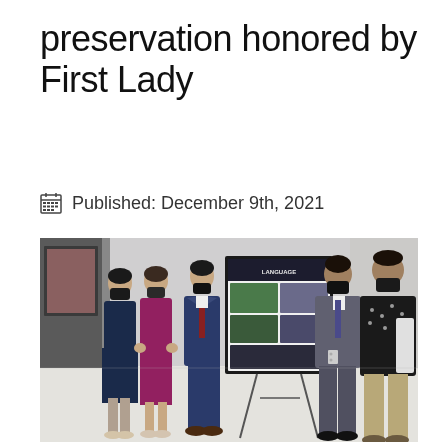preservation honored by First Lady
Published: December 9th, 2021
[Figure (photo): Group of five people wearing face masks standing in a room. On the left, three people (a woman in a navy skirt, a woman in a magenta dress, and a man in a navy suit) face right and look at a presentation easel displaying a poster titled 'LANGUAGE'. On the right, two men (one in a gray suit, one in a black patterned shirt) stand next to the easel. The man in gray appears to be gesturing and presenting.]